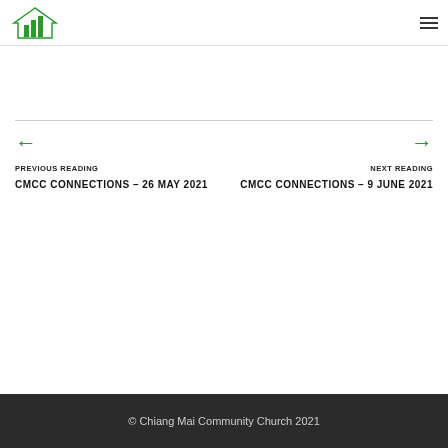Chiang Mai Community Church
← PREVIOUS READING
CMCC CONNECTIONS – 26 MAY 2021
→ NEXT READING
CMCC CONNECTIONS – 9 JUNE 2021
© Chiang Mai Community Church 2021